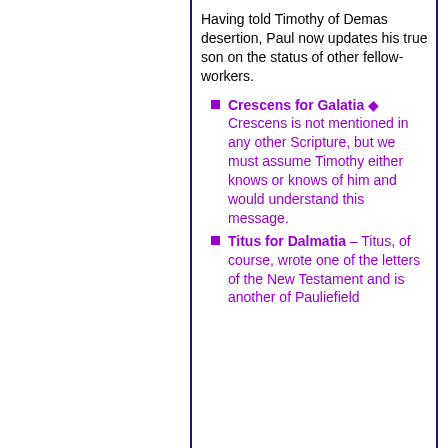Having told Timothy of Demas desertion, Paul now updates his true son on the status of other fellow-workers.
Crescens for Galatia ◆ Crescens is not mentioned in any other Scripture, but we must assume Timothy either knows or knows of him and would understand this message.
Titus for Dalmatia – Titus, of course, wrote one of the letters of the New Testament and is another of Paulie's field